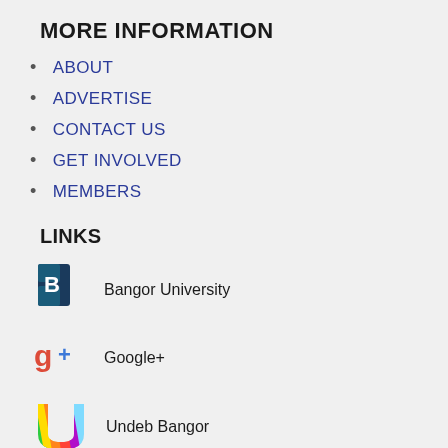MORE INFORMATION
ABOUT
ADVERTISE
CONTACT US
GET INVOLVED
MEMBERS
LINKS
[Figure (logo): Bangor University logo - stylized B letter mark in dark blue/teal]
Bangor University
[Figure (logo): Google+ logo - colorful g+ icon in red, blue, green, yellow]
Google+
[Figure (logo): Undeb Bangor logo - U shape with rainbow diagonal stripes in green, yellow, orange, red, purple]
Undeb Bangor